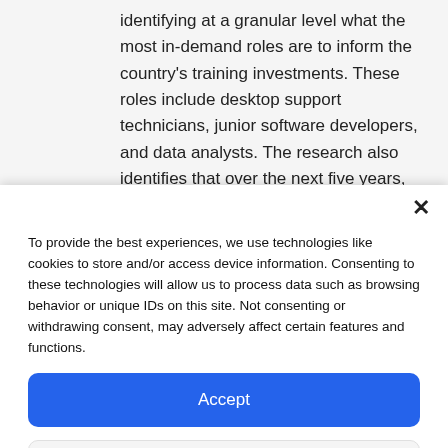identifying at a granular level what the most in-demand roles are to inform the country's training investments. These roles include desktop support technicians, junior software developers, and data analysts. The research also identifies that over the next five years, machine
To provide the best experiences, we use technologies like cookies to store and/or access device information. Consenting to these technologies will allow us to process data such as browsing behavior or unique IDs on this site. Not consenting or withdrawing consent, may adversely affect certain features and functions.
Accept
Deny